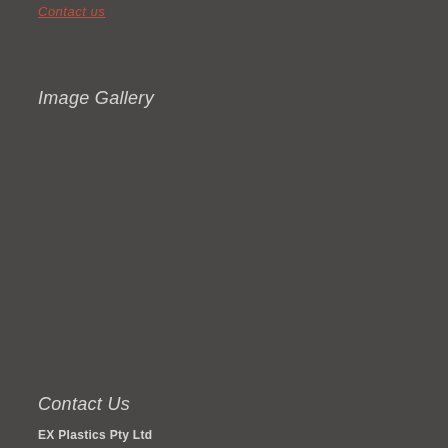Contact us
Image Gallery
Contact Us
EX Plastics Pty Ltd